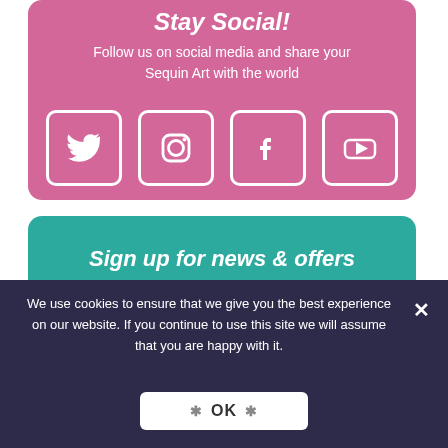Stay Social!
Follow us on social media and share your Sequin Art with the world
[Figure (infographic): Four social media icons in white rounded square outlines: Twitter bird, Instagram camera, Facebook f, YouTube play button, on pink background]
Sign up for news & offers
Keep up to date with all our new
We use cookies to ensure that we give you the best experience on our website. If you continue to use this site we will assume that you are happy with it.